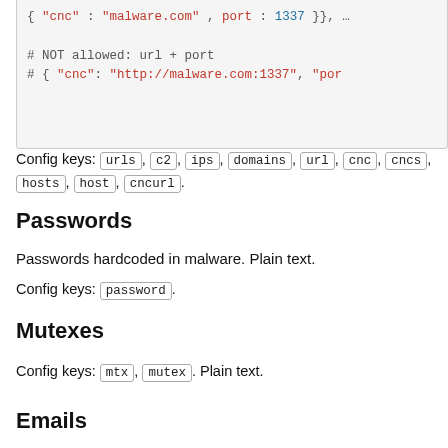[Figure (other): Code block showing commented-out examples of NOT allowed url + port configuration]
Config keys: urls, c2, ips, domains, url, cnc, cncs, hosts, host, cncurl.
Passwords
Passwords hardcoded in malware. Plain text.
Config keys: password.
Mutexes
Config keys: mtx, mutex. Plain text.
Emails